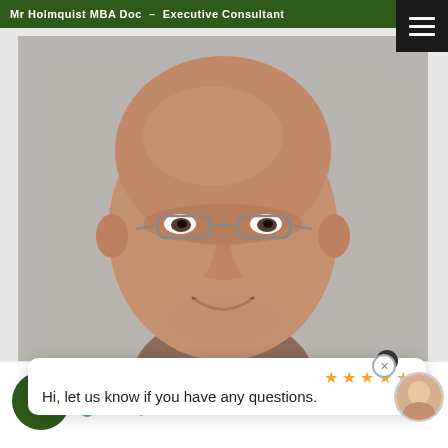Mr Holmquist MBA Doc – Executive Consultant
[Figure (photo): Headshot portrait of a bald older man wearing glasses, smiling, against a gray background]
4.9
Average Score 9.0
from ...
Verified by Endorsal.io
Hi, let us know if you have any questions.